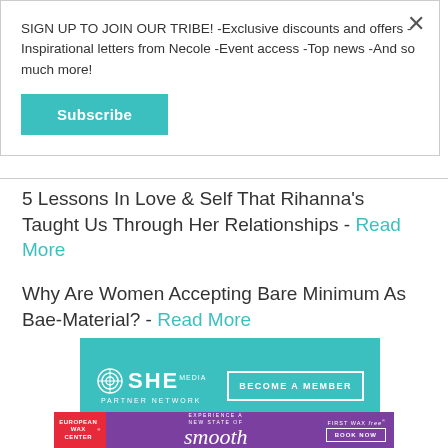SIGN UP TO JOIN OUR TRIBE! -Exclusive discounts and offers -Inspirational letters from Necole -Event access -Top news -And so much more!
Subscribe
5 Lessons In Love & Self That Rihanna's Taught Us Through Her Relationships - Read More
Why Are Women Accepting Bare Minimum As Bae-Material? - Read More
[Figure (advertisement): SHE Media Partner Network - Become A Member teal banner ad]
[Figure (advertisement): European Wax Center - Experience a New State of Smooth - First Wax Free - Book Now purple banner ad]